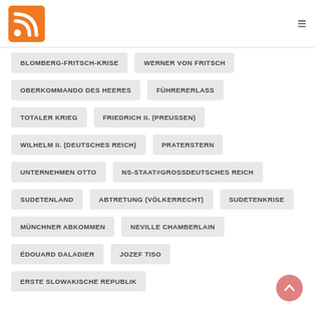[Figure (logo): RSS feed orange icon logo in top-left corner]
BLOMBERG-FRITSCH-KRISE
WERNER VON FRITSCH
OBERKOMMANDO DES HEERES
FÜHRERERLASS
TOTALER KRIEG
FRIEDRICH II. (PREUSSEN)
WILHELM II. (DEUTSCHES REICH)
PRATERSTERN
UNTERNEHMEN OTTO
NS-STAAT#GROSSDEUTSCHES REICH
SUDETENLAND
ABTRETUNG (VÖLKERRECHT)
SUDETENKRISE
MÜNCHNER ABKOMMEN
NEVILLE CHAMBERLAIN
ÉDOUARD DALADIER
JOZEF TISO
ERSTE SLOWAKISCHE REPUBLIK